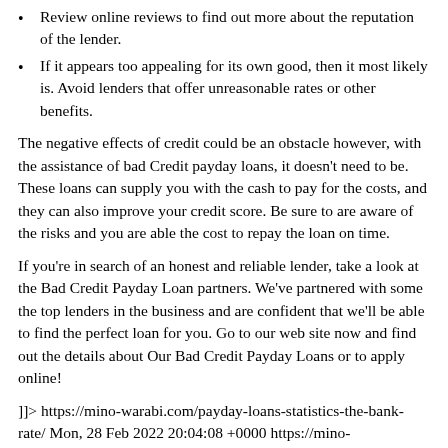Review online reviews to find out more about the reputation of the lender.
If it appears too appealing for its own good, then it most likely is. Avoid lenders that offer unreasonable rates or other benefits.
The negative effects of credit could be an obstacle however, with the assistance of bad Credit payday loans, it doesn’t need to be. These loans can supply you with the cash to pay for the costs, and they can also improve your credit score. Be sure to are aware of the risks and you are able the cost to repay the loan on time.
If you’re in search of an honest and reliable lender, take a look at the Bad Credit Payday Loan partners. We’ve partnered with some the top lenders in the business and are confident that we’ll be able to find the perfect loan for you. Go to our web site now and find out the details about Our Bad Credit Payday Loans or to apply online!
]]> https://mino-warabi.com/payday-loans-statistics-the-bank-rate/ Mon, 28 Feb 2022 20:04:08 +0000 https://mino-warabi.com/payday-loans-statistics-the-bank-rate/ Here’s a breakdown of payday loan demographics by parental status. Parents are more likely to take out payday loans than non-parents.
Parental status Percentage having used a personal loan